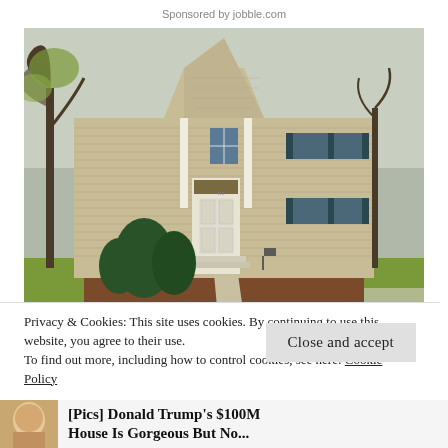Sponsored by jobble.com
[Figure (photo): Exterior photo of a two-story beige/tan colonial house with white trim, black shutters, evergreen shrubs, bare trees, and green lawn in spring.]
Privacy & Cookies: This site uses cookies. By continuing to use this website, you agree to their use.
To find out more, including how to control cookies, see here: Cookie Policy
Close and accept
[Pics] Donald Trump's $100M House Is Gorgeous But No...